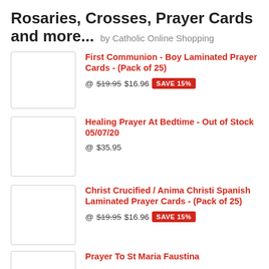Rosaries, Crosses, Prayer Cards and more... by Catholic Online Shopping
[Figure (other): Product image placeholder for First Communion Boy Laminated Prayer Cards]
First Communion - Boy Laminated Prayer Cards - (Pack of 25)
@ $19.95 $16.96 SAVE 15%
[Figure (other): Product image placeholder for Healing Prayer At Bedtime]
Healing Prayer At Bedtime - Out of Stock 05/07/20
@ $35.95
[Figure (other): Product image placeholder for Christ Crucified / Anima Christi Spanish Laminated Prayer Cards]
Christ Crucified / Anima Christi Spanish Laminated Prayer Cards - (Pack of 25)
@ $19.95 $16.96 SAVE 15%
[Figure (other): Product image placeholder for Prayer To St Maria Faustina]
Prayer To St Maria Faustina